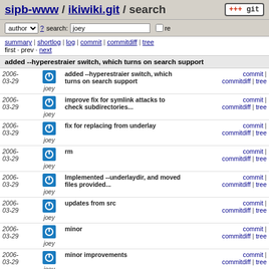sipb-www / ikiwiki.git / search
author search: joey re
summary | shortlog | log | commit | commitdiff | tree
first · prev · next
added --hyperestraier switch, which turns on search support
| date | author | message | links |
| --- | --- | --- | --- |
| 2006-03-29 | joey | added --hyperestraier switch, which turns on search support | commit | commitdiff | tree |
| 2006-03-29 | joey | improve fix for symlink attacks to check subdirectories... | commit | commitdiff | tree |
| 2006-03-29 | joey | fix for replacing from underlay | commit | commitdiff | tree |
| 2006-03-29 | joey | rm | commit | commitdiff | tree |
| 2006-03-29 | joey | Implemented --underlaydir, and moved files provided... | commit | commitdiff | tree |
| 2006-03-29 | joey | updates from src | commit | commitdiff | tree |
| 2006-03-29 | joey | minor | commit | commitdiff | tree |
| 2006-03-29 | joey | minor improvements | commit | commitdiff | tree |